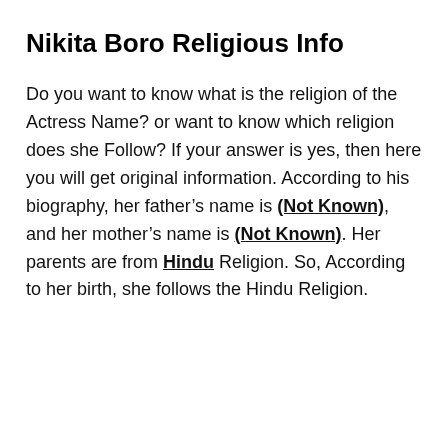Nikita Boro Religious Info
Do you want to know what is the religion of the Actress Name? or want to know which religion does she Follow? If your answer is yes, then here you will get original information. According to his biography, her father’s name is (Not Known), and her mother’s name is (Not Known). Her parents are from Hindu Religion. So, According to her birth, she follows the Hindu Religion.